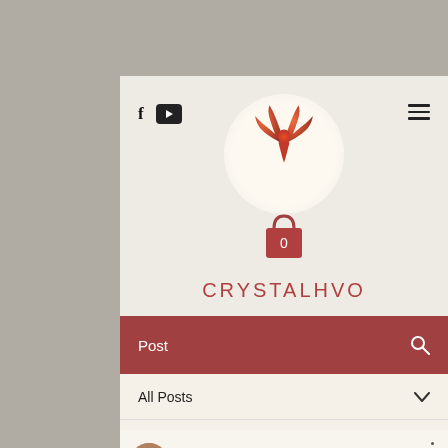[Figure (screenshot): Website screenshot of CrystalHVO blog/shop. Header with social icons (Facebook, YouTube), hamburger menu, phoenix logo, shopping bag with 0 items, brand name CRYSTALHVO, dark red navigation bar with Post label and search icon, All Posts dropdown, and blog post by CRYSTAL H. VO dated Feb 6, 2020, 2 min read.]